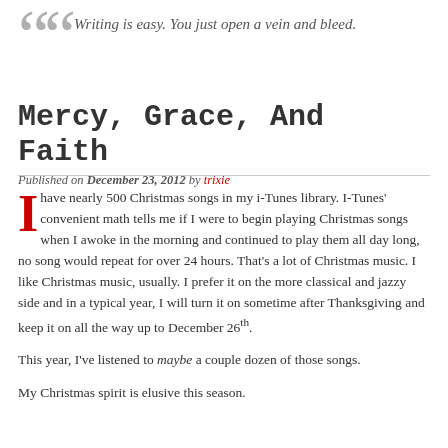Writing is easy. You just open a vein and bleed.
Mercy, Grace, And Faith
Published on December 23, 2012 by trixie
I have nearly 500 Christmas songs in my i-Tunes library. I-Tunes' convenient math tells me if I were to begin playing Christmas songs when I awoke in the morning and continued to play them all day long, no song would repeat for over 24 hours. That's a lot of Christmas music. I like Christmas music, usually. I prefer it on the more classical and jazzy side and in a typical year, I will turn it on sometime after Thanksgiving and keep it on all the way up to December 26th.
This year, I've listened to maybe a couple dozen of those songs.
My Christmas spirit is elusive this season.